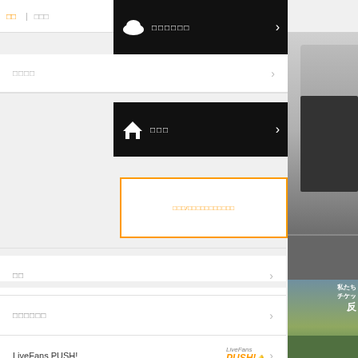[Figure (screenshot): Japanese music/live event website navigation menu with black header bars, grey menu rows, orange bordered search box, and LiveFans PUSH! entry. Right sidebar shows partial images of a person in black outfit and Japanese text advertisements.]
□□
□□□
□□□□□□
□□□□
□□□
□□□□□□
□□□/□□□□□□□□□□□
□□
□□□□□□
LiveFans PUSH!
□□□□□□□□□
□□□□
□□□□